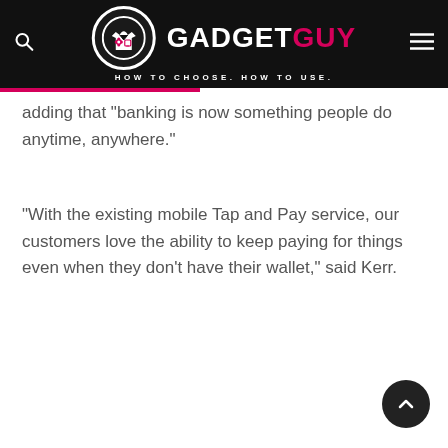GADGET GUY — HOW TO CHOOSE. HOW TO USE.
adding that “banking is now something people do anytime, anywhere.”
“With the existing mobile Tap and Pay service, our customers love the ability to keep paying for things even when they don’t have their wallet,” said Kerr.